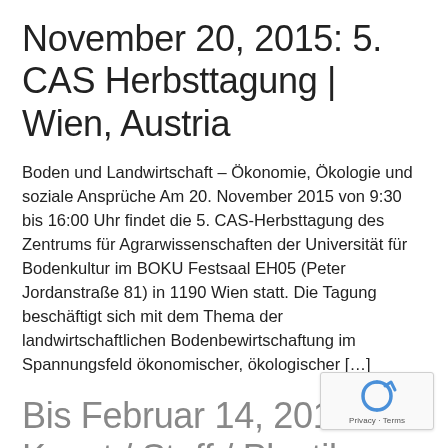November 20, 2015: 5. CAS Herbsttagung | Wien, Austria
Boden und Landwirtschaft – Ökonomie, Ökologie und soziale Ansprüche Am 20. November 2015 von 9:30 bis 16:00 Uhr findet die 5. CAS-Herbsttagung des Zentrums für Agrarwissenschaften der Universität für Bodenkultur im BOKU Festsaal EH05 (Peter Jordanstraße 81) in 1190 Wien statt. Die Tagung beschäftigt sich mit dem Thema der landwirtschaftlichen Bodenbewirtschaftung im Spannungsfeld ökonomischer, ökologischer […]
Bis Februar 14, 2016: Kunst / Stoff / Plastik – Woher? Wofür? Wohin? | Wien, Austria
[Figure (logo): reCAPTCHA privacy badge with circular arrow logo, showing 'Privacy - Terms' text]